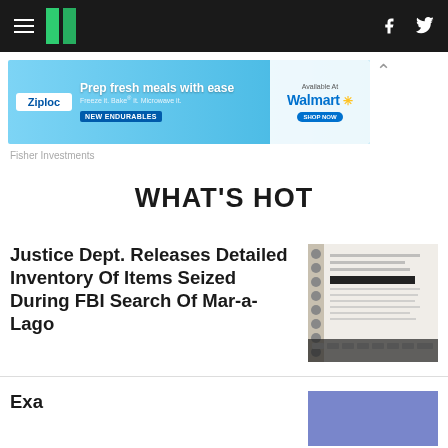HuffPost navigation bar with hamburger menu, logo, Facebook and Twitter icons
[Figure (photo): Advertisement banner: Ziploc - Prep fresh meals with ease. Freeze it. Bake it. Microwave it. New Endurables. Available at Walmart.]
Fisher Investments
WHAT'S HOT
Justice Dept. Releases Detailed Inventory Of Items Seized During FBI Search Of Mar-a-Lago
[Figure (photo): Photo of a legal document / court filing with redacted text, with a spiral-bound notebook and a keyboard visible.]
Exa...